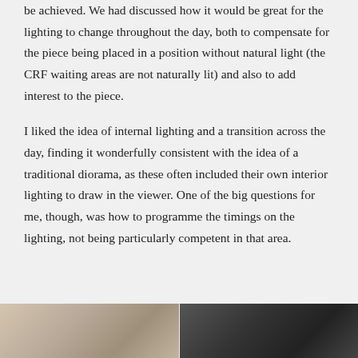be achieved. We had discussed how it would be great for the lighting to change throughout the day, both to compensate for the piece being placed in a position without natural light (the CRF waiting areas are not naturally lit) and also to add interest to the piece.
I liked the idea of internal lighting and a transition across the day, finding it wonderfully consistent with the idea of a traditional diorama, as these often included their own interior lighting to draw in the viewer. One of the big questions for me, though, was how to programme the timings on the lighting, not being particularly competent in that area.
[Figure (photo): Partial photo on the left, appears to show a light-colored subject, cropped at top of image.]
[Figure (photo): Partial photo on the right with dark background, appears to show a person or face, cropped at top of image.]